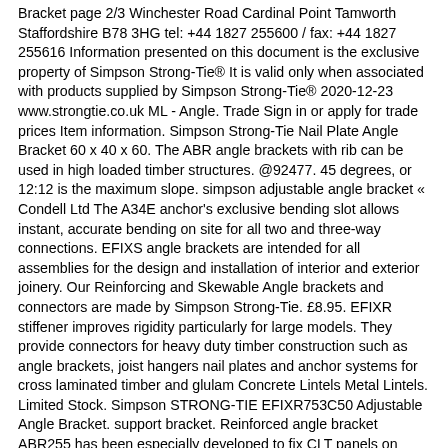Bracket page 2/3 Winchester Road Cardinal Point Tamworth Staffordshire B78 3HG tel: +44 1827 255600 / fax: +44 1827 255616 Information presented on this document is the exclusive property of Simpson Strong-Tie® It is valid only when associated with products supplied by Simpson Strong-Tie® 2020-12-23 www.strongtie.co.uk ML - Angle. Trade Sign in or apply for trade prices Item information. Simpson Strong-Tie Nail Plate Angle Bracket 60 x 40 x 60. The ABR angle brackets with rib can be used in high loaded timber structures. @92477. 45 degrees, or 12:12 is the maximum slope. simpson adjustable angle bracket « Condell Ltd The A34E anchor's exclusive bending slot allows instant, accurate bending on site for all two and three-way connections. EFIXS angle brackets are intended for all assemblies for the design and installation of interior and exterior joinery. Our Reinforcing and Skewable Angle brackets and connectors are made by Simpson Strong-Tie. £8.95. EFIXR stiffener improves rigidity particularly for large models. They provide connectors for heavy duty timber construction such as angle brackets, joist hangers nail plates and anchor systems for cross laminated timber and glulam Concrete Lintels Metal Lintels. Limited Stock. Simpson STRONG-TIE EFIXR753C50 Adjustable Angle Bracket. support bracket. Reinforced angle bracket ABR255 has been especially developed to fix CLT panels on wood or concrete support. Simpson LS50 124mm Skewable Angle Bracket 2661820. It can be used in several configuration depending on the installation. Find